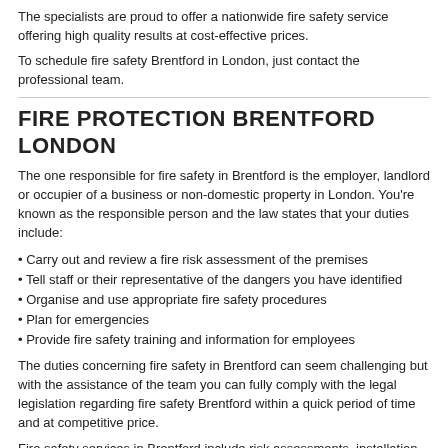The specialists are proud to offer a nationwide fire safety service offering high quality results at cost-effective prices.
To schedule fire safety Brentford in London, just contact the professional team.
FIRE PROTECTION BRENTFORD LONDON
The one responsible for fire safety in Brentford is the employer, landlord or occupier of a business or non-domestic property in London. You're known as the responsible person and the law states that your duties include:
• Carry out and review a fire risk assessment of the premises
• Tell staff or their representative of the dangers you have identified
• Organise and use appropriate fire safety procedures
• Plan for emergencies
• Provide fire safety training and information for employees
The duties concerning fire safety in Brentford can seem challenging but with the assistance of the team you can fully comply with the legal legislation regarding fire safety Brentford within a quick period of time and at competitive price.
Fire safety services in Brentford include risk assessments, installation and maintenance of dependable fire systems and equipment by fully trained personnel covering your local area.
For a no obligation estimate on fire safety Brentford that the professionals can give, simply fill in the website form provided.